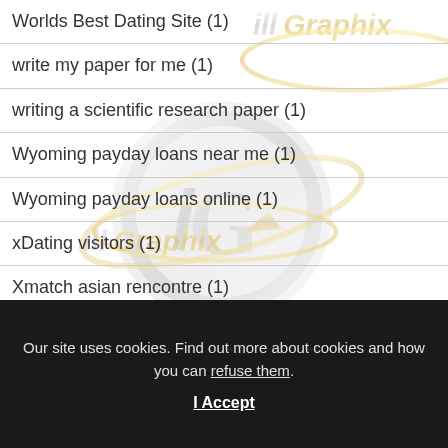Worlds Best Dating Site (1)
write my paper for me (1)
writing a scientific research paper (1)
Wyoming payday loans near me (1)
Wyoming payday loans online (1)
xDating visitors (1)
Xmatch asian rencontre (1)
Our site uses cookies. Find out more about cookies and how you can refuse them.
I Accept